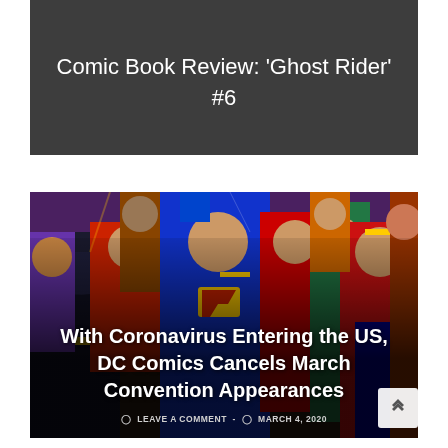Comic Book Review: ‘Ghost Rider’ #6
[Figure (illustration): DC Comics superhero group illustration featuring Batman, Superman, Wonder Woman, Robin, and other characters in colorful comic book art style]
With Coronavirus Entering the US, DC Comics Cancels March Convention Appearances
LEAVE A COMMENT · MARCH 4, 2020